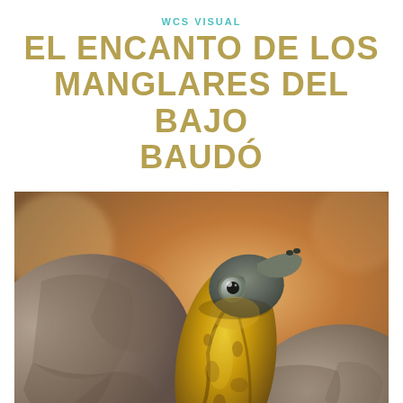WCS VISUAL
EL ENCANTO DE LOS MANGLARES DEL BAJO BAUDÓ
[Figure (photo): Close-up photograph of a turtle with yellow and brown patterned neck and head, looking upward. The turtle's shell is visible in the background. Bokeh background with warm tones.]
Fotos: Javier Nilen García